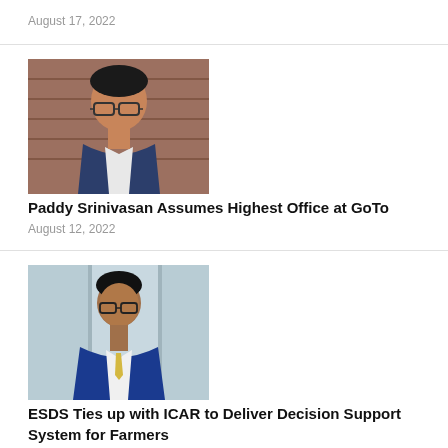August 17, 2022
[Figure (photo): Portrait photo of Paddy Srinivasan, a man with glasses in a suit, against a brick wall background]
Paddy Srinivasan Assumes Highest Office at GoTo
August 12, 2022
[Figure (photo): Portrait photo of a man in a blue suit with a yellow tie, standing against a light grey background with panels]
ESDS Ties up with ICAR to Deliver Decision Support System for Farmers
August 10, 2022